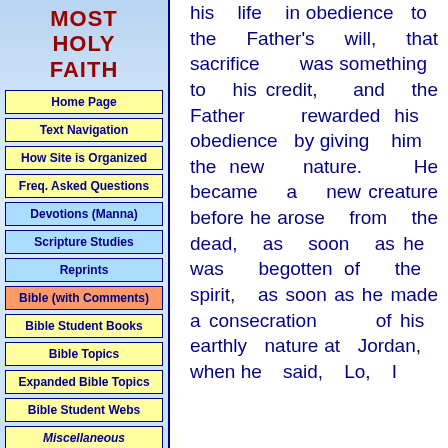MOST HOLY FAITH
Home Page
Text Navigation
How Site is Organized
Freq. Asked Questions
Devotions (Manna)
Scripture Studies
Reprints
Bible (with Comments)
Bible Student Books
Bible Topics
Expanded Bible Topics
Bible Student Webs
Miscellaneous
his life in obedience to the Father's will, that sacrifice was something to his credit, and the Father rewarded his obedience by giving him the new nature. He became a new creature before he arose from the dead, as soon as he was begotten of the spirit, as soon as he made a consecration of his earthly nature at Jordan, when he said, Lo, I